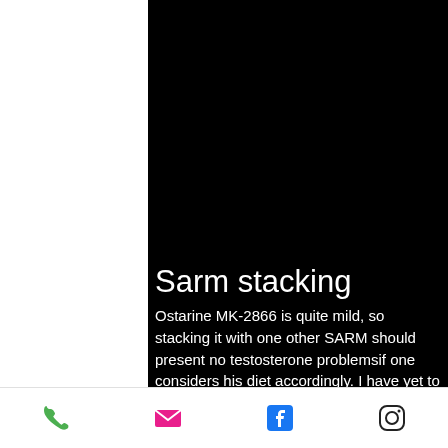[Figure (screenshot): Black background area occupying the upper portion of a mobile screen]
Sarm stacking
Ostarine MK-2866 is quite mild, so stacking it with one other SARM should present no testosterone problemsif one considers his diet accordingly. I have yet to use it for more than a few weeks before assessing its
[Figure (infographic): Mobile app bottom navigation bar with phone, email, Facebook, and Instagram icons]